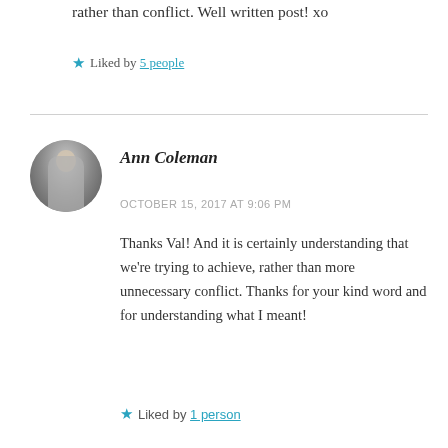rather than conflict. Well written post! xo
Liked by 5 people
Ann Coleman
OCTOBER 15, 2017 AT 9:06 PM
Thanks Val! And it is certainly understanding that we're trying to achieve, rather than more unnecessary conflict. Thanks for your kind word and for understanding what I meant!
Liked by 1 person